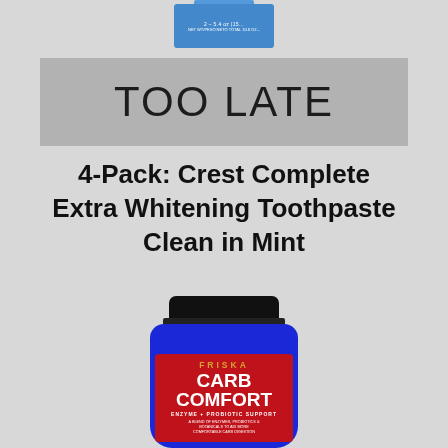[Figure (photo): Partial view of a blue Crest toothpaste box at top of image, cropped]
TOO LATE
4-Pack: Crest Complete Extra Whitening Toothpaste Clean in Mint
[Figure (photo): FRISKA Carb Comfort supplement bottle — blue glass jar with black cap and red label reading FRISKA CARB COMFORT ENZYME + PROBIOTIC SUPPORT, A BLEND OF ENZYMES, PROBIOTICS & BOTANICALS TO AID MORE COMFORTABLE CARB DIGESTION]